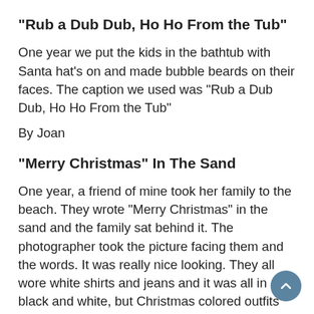"Rub a Dub Dub, Ho Ho From the Tub"
One year we put the kids in the bathtub with Santa hat's on and made bubble beards on their faces. The caption we used was "Rub a Dub Dub, Ho Ho From the Tub"
By Joan
"Merry Christmas" In The Sand
One year, a friend of mine took her family to the beach. They wrote "Merry Christmas" in the sand and the family sat behind it. The photographer took the picture facing them and the words. It was really nice looking. They all wore white shirts and jeans and it was all in black and white, but Christmas colored outfits would be nice, too. It is great for all ages.